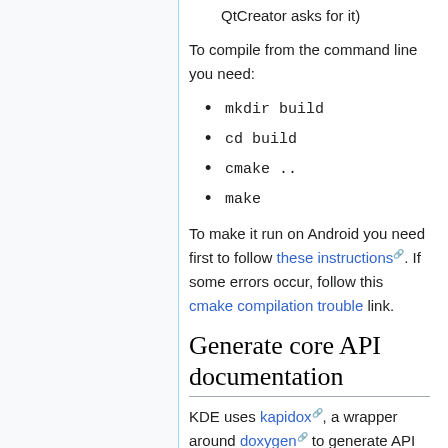QtCreator asks for it)
To compile from the command line you need:
mkdir build
cd build
cmake ..
make
To make it run on Android you need first to follow these instructions. If some errors occur, follow this cmake compilation trouble link.
Generate core API documentation
KDE uses kapidox, a wrapper around doxygen to generate API documentation. Kapidox uses doxyqml for generating documentation for QML...